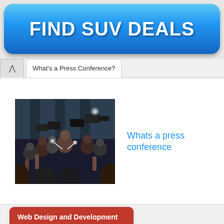[Figure (infographic): Blue gradient banner button with bold white text reading FIND SUV DEALS]
What’s a Press Conference?
[Figure (photo): Press conference crowd photo showing reporters with cameras and microphones surrounding a person]
Whats a press conference
[Figure (screenshot): Web Design and Development lecture slide thumbnail showing Session And Login, Instructor: Rida Noor, Department of Computer Science]
Press database
[Figure (screenshot): Oxford Levels Placement and Programme thumbnail with purple background and circle logo]